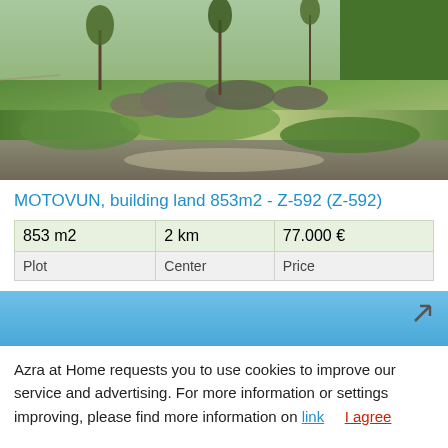[Figure (photo): Outdoor photo of a building plot with grass, shrubs, and sparse trees on uneven terrain]
MOTOVUN, building land 853m2 - Z-592 (Z-592)
| 853 m2 | 2 km | 77.000 € |
| Plot | Center | Price |
[Figure (photo): Blue banner/image strip with an arrow icon in the upper right corner]
Azra at Home requests you to use cookies to improve our service and advertising. For more information or settings improving, please find more information on link   I agree